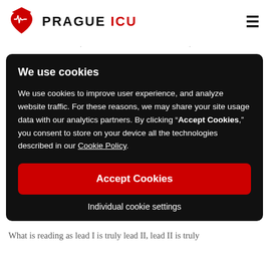PRAGUE ICU
We use cookies
We use cookies to improve user experience, and analyze website traffic. For these reasons, we may share your site usage data with our analytics partners. By clicking “Accept Cookies,” you consent to store on your device all the technologies described in our Cookie Policy.
Accept Cookies
Individual cookie settings
What is reading as lead I is truly lead II, lead II is truly